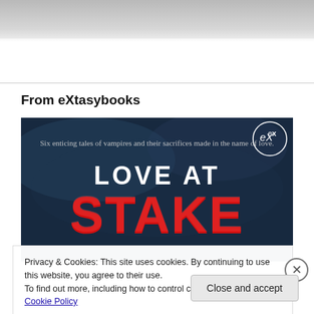[Figure (photo): Top partial image, grey/white abstract]
From eXtasybooks
[Figure (photo): Book cover for 'Love at Stake' - dark blue/black textured background with red stylized title text and tagline: Six enticing tales of vampires and their sacrifices made in the name of love. eX logo in top right corner.]
Privacy & Cookies: This site uses cookies. By continuing to use this website, you agree to their use.
To find out more, including how to control cookies, see here: Cookie Policy